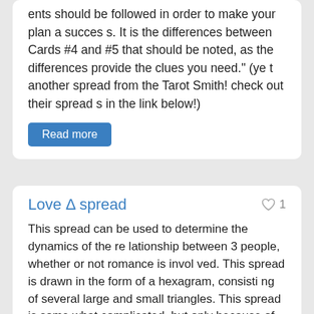ents should be followed in order to make your plan a success. It is the differences between Cards #4 and #5 that should be noted, as the differences provide the clues you need." (yet another spread from the Tarot Smith! check out their spreads in the link below!)
Read more
Love Δ spread
This spread can be used to determine the dynamics of the relationship between 3 people, whether or not romance is involved. This spread is drawn in the form of a hexagram, consisting of several large and small triangles. This spread is somewhat complicated, but only because of the complicated nature of this type of relationship. The first step is to interpret the card for each individual position in the spread. Generally the querent asks about a relationship that he or she is involved with, but this does not have to be the case. Ordinarily the querent's representative card is #1, the querent's person of interest is #2, and the other person would be #3. The second step fills in the downward triangle and involves further examinatio